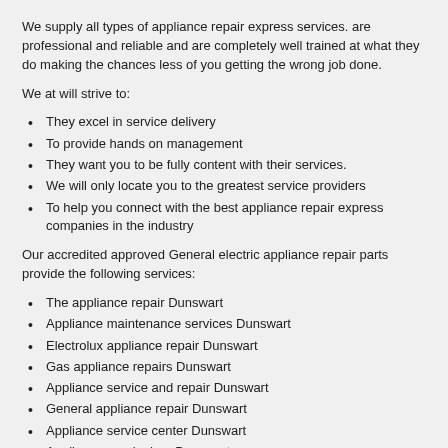We supply all types of appliance repair express services. are professional and reliable and are completely well trained at what they do making the chances less of you getting the wrong job done.
We at will strive to:
They excel in service delivery
To provide hands on management
They want you to be fully content with their services.
We will only locate you to the greatest service providers
To help you connect with the best appliance repair express companies in the industry
Our accredited approved General electric appliance repair parts provide the following services:
The appliance repair Dunswart
Appliance maintenance services Dunswart
Electrolux appliance repair Dunswart
Gas appliance repairs Dunswart
Appliance service and repair Dunswart
General appliance repair Dunswart
Appliance service center Dunswart
Appliance repair shop Dunswart
Appliances service & repair Dunswart
Ge appliances repairs Dunswart
Appliance repair and service Dunswart